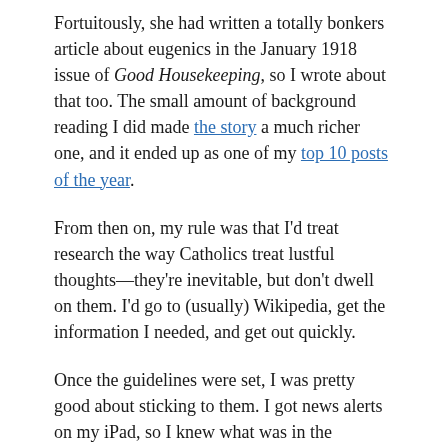Fortuitously, she had written a totally bonkers article about eugenics in the January 1918 issue of Good Housekeeping, so I wrote about that too. The small amount of background reading I did made the story a much richer one, and it ended up as one of my top 10 posts of the year.
From then on, my rule was that I'd treat research the way Catholics treat lustful thoughts—they're inevitable, but don't dwell on them. I'd go to (usually) Wikipedia, get the information I needed, and get out quickly.
Once the guidelines were set, I was pretty good about sticking to them. I got news alerts on my iPad, so I knew what was in the headlines. If a news event was important enough that I felt I needed to know about it (like the Trump-Putin summit, the Kavanaugh hearings, and the midterm election results) I'd read an article about it—just one. No editorials, op-eds, or